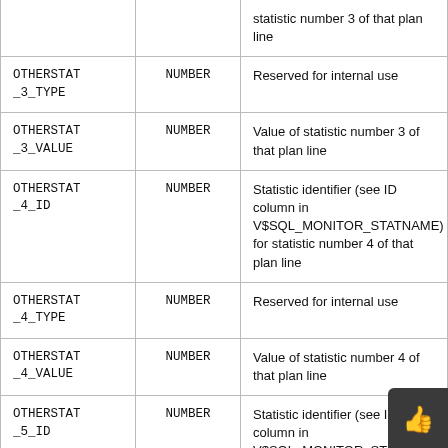| Column | Type | Description |
| --- | --- | --- |
|  |  | statistic number 3 of that plan line |
| OTHERSTAT_3_TYPE | NUMBER | Reserved for internal use |
| OTHERSTAT_3_VALUE | NUMBER | Value of statistic number 3 of that plan line |
| OTHERSTAT_4_ID | NUMBER | Statistic identifier (see ID column in V$SQL_MONITOR_STATNAME) for statistic number 4 of that plan line |
| OTHERSTAT_4_TYPE | NUMBER | Reserved for internal use |
| OTHERSTAT_4_VALUE | NUMBER | Value of statistic number 4 of that plan line |
| OTHERSTAT_5_ID | NUMBER | Statistic identifier (see ID column in V$SQL_MONITOR_STATNAME) for statistic number 5 of that plan line |
| OTHERSTAT_5_TYPE | NUMBER | Reserved for internal use |